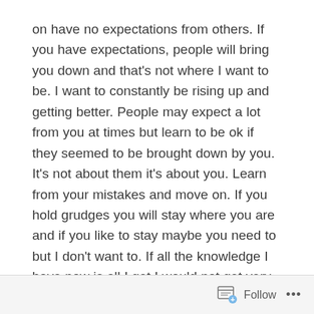on have no expectations from others. If you have expectations, people will bring you down and that's not where I want to be. I want to constantly be rising up and getting better. People may expect a lot from you at times but learn to be ok if they seemed to be brought down by you. It's not about them it's about you. Learn from your mistakes and move on. If you hold grudges you will stay where you are and if you like to stay maybe you need to but I don't want to. If all the knowledge I have now is all I get I would not get very far. I don't mean math or science, I mean experience and history of our world. The world is a beautiful place but can also be a dark and lonely one. If you try and find positivity in it you will become happier. Do what
Follow ···